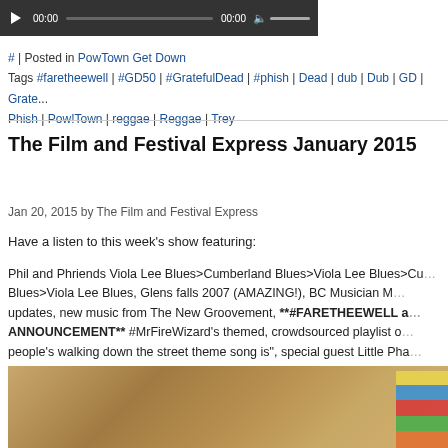[Figure (other): Audio player bar with play button, time labels 00:00, progress bar, volume icon, and volume slider on dark background]
# | Posted in PowTown Get Down
Tags #faretheewell | #GD50 | #GratefulDead | #phish | Dead | dub | Dub | GD | Grate... Phish | Pow!Town | reggae | Reggae | Trey
The Film and Festival Express January 2015
Jan 20, 2015 by The Film and Festival Express
Have a listen to this week's show featuring:
Phil and Phriends Viola Lee Blues>Cumberland Blues>Viola Lee Blues>Cu... Blues>Viola Lee Blues, Glens falls 2007 (AMAZING!), BC Musician M... updates, new music from The New Groovement, **#FARETHEEWELL a... ANNOUNCEMENT** #MrFireWizard's themed, crowdsourced playlist o... people's walking down the street theme song is", special guest Little Pha... MORE!
[Figure (photo): Photo showing a sandy/textured surface (possibly a sponge or sand) with colorful items in the bottom right corner]